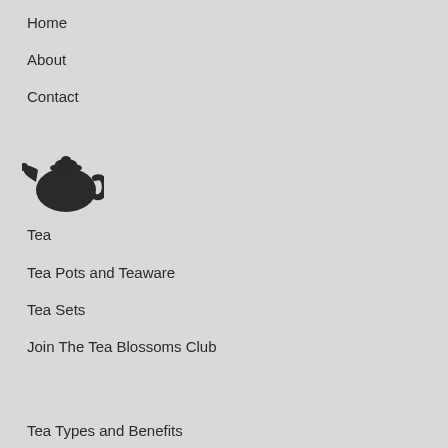Home
About
Contact
[Figure (illustration): Black silhouette icon of a teapot]
Tea
Tea Pots and Teaware
Tea Sets
Join The Tea Blossoms Club
Tea Types and Benefits